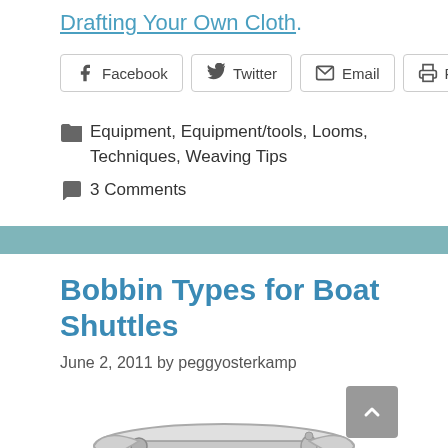Drafting Your Own Cloth.
Facebook  Twitter  Email  Print
Equipment, Equipment/tools, Looms, Techniques, Weaving Tips
3 Comments
Bobbin Types for Boat Shuttles
June 2, 2011 by peggyosterkamp
[Figure (illustration): Illustration of a boat shuttle bobbin, showing a spindle-shaped bobbin inside an oval boat shuttle, viewed from above.]